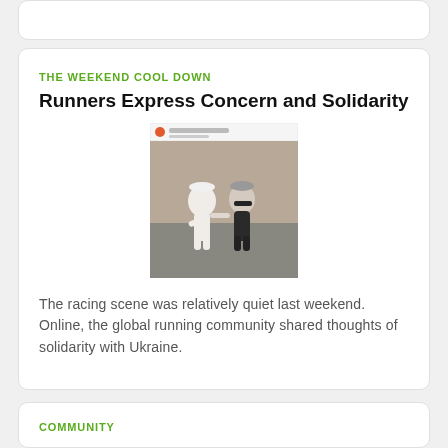THE WEEKEND COOL DOWN
Runners Express Concern and Solidarity
[Figure (photo): Social media screenshot showing two runners on a road, one in white outfit and one in dark outfit, appearing to interact or assist each other during a race.]
The racing scene was relatively quiet last weekend. Online, the global running community shared thoughts of solidarity with Ukraine.
COMMUNITY